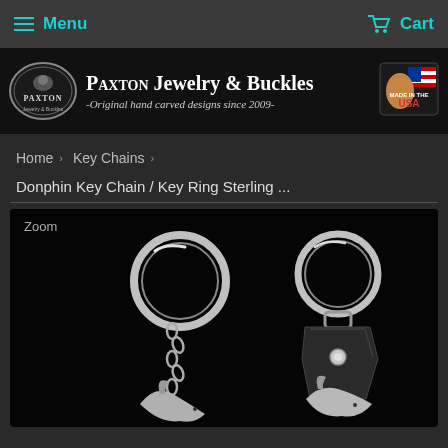Menu   Cart
[Figure (logo): Paxton Jewelry & Buckles banner with logo, title 'PAXTON Jewelry & Buckles - Original hand carved designs since 2009-', and Made in the USA badge]
Home › Key Chains ›
Donphin Key Chain / Key Ring Sterling ...
[Figure (photo): Product photo on black background showing two sterling silver dolphin key chains/key rings — one silver chain style and one leather fob style — with silver key rings at top and dolphin pendants at bottom. 'Zoom' label in top-left corner.]